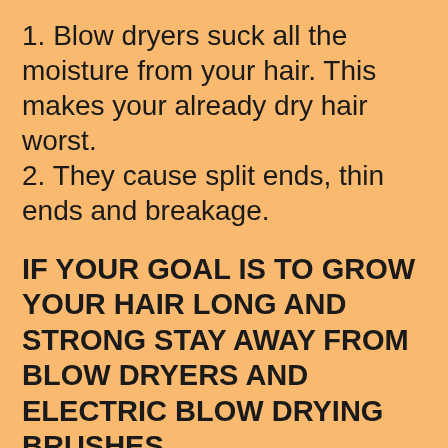1. Blow dryers suck all the moisture from your hair. This makes your already dry hair worst.
2. They cause split ends, thin ends and breakage.
IF YOUR GOAL IS TO GROW YOUR HAIR LONG AND STRONG STAY AWAY FROM BLOW DRYERS AND ELECTRIC BLOW DRYING BRUSHES.
The smoothest healthiest blow out you can get, is to set your hair with